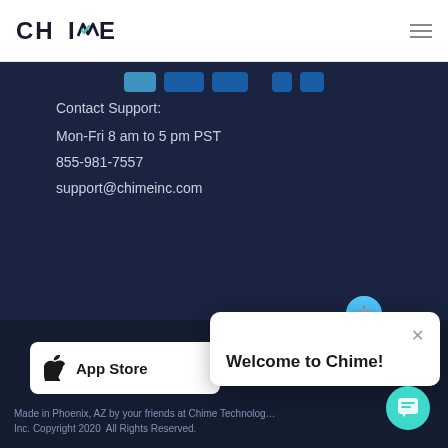[Figure (logo): Chime logo with teal checkmark]
[Figure (other): Hamburger menu icon]
Contact Support:
Mon-Fri 8 am to 5 pm PST
855-981-7557
support@chimeinc.com
[Figure (other): App Store button with Apple logo]
[Figure (screenshot): Welcome to Chime! chat popup overlay]
Made in Phoenix, AZ by your friends at Chime Technology, Inc. Copyright 2020  All Rights Reserved.